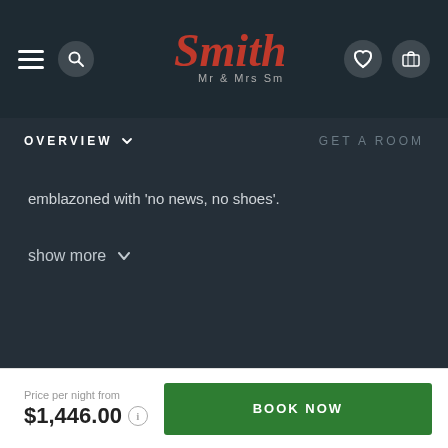Mr & Mrs Smith — Navigation bar with hamburger menu, search, logo, phone, heart, and bag icons
OVERVIEW   GET A ROOM
emblazoned with 'no news, no shoes'.
show more
What our members say
Independent reviews provided by Reevoo
Help?
Price per night from $1,446.00  BOOK NOW